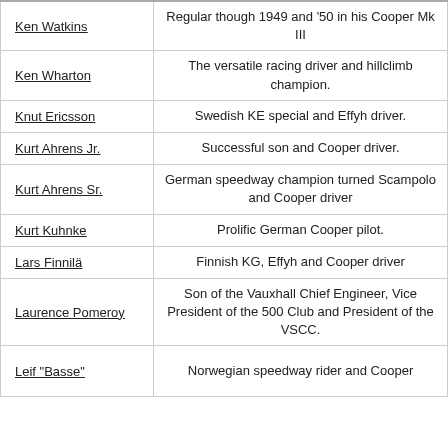| Name | Description |
| --- | --- |
| Ken Watkins | Regular though 1949 and '50 in his Cooper Mk III |
| Ken Wharton | The versatile racing driver and hillclimb champion. |
| Knut Ericsson | Swedish KE special and Effyh driver. |
| Kurt Ahrens Jr. | Successful son and Cooper driver. |
| Kurt Ahrens Sr. | German speedway champion turned Scampolo and Cooper driver |
| Kurt Kuhnke | Prolific German Cooper pilot. |
| Lars Finnilä | Finnish KG, Effyh and Cooper driver |
| Laurence Pomeroy | Son of the Vauxhall Chief Engineer, Vice President of the 500 Club and President of the VSCC. |
| Leif "Basse" | Norwegian speedway rider and Cooper |